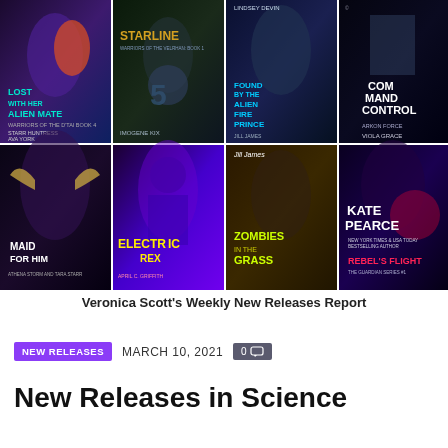[Figure (illustration): A 2x4 grid collage of 8 science fiction and fantasy romance book covers: Lost With Her Alien Mate by Starr Huntress & Ava York; Starline by Imogene Kix; Found by the Alien Fire Prince by Lindsey Devin; Command Control by Viola Grace; Maid for Him by Athena Storm and Tara Starr; Electric Rex by April C. Griffith; Zombies in the Grass by Jill James; Rebel's Flight by Kate Pearce.]
Veronica Scott's Weekly New Releases Report
NEW RELEASES   MARCH 10, 2021   0
New Releases in Science